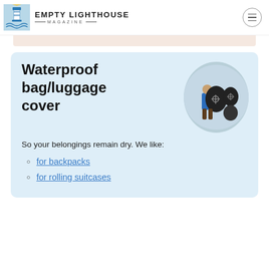EMPTY LIGHTHOUSE MAGAZINE
Waterproof bag/luggage cover
[Figure (photo): Person wearing a black waterproof backpack cover, with additional luggage covers shown]
So your belongings remain dry. We like:
for backpacks
for rolling suitcases